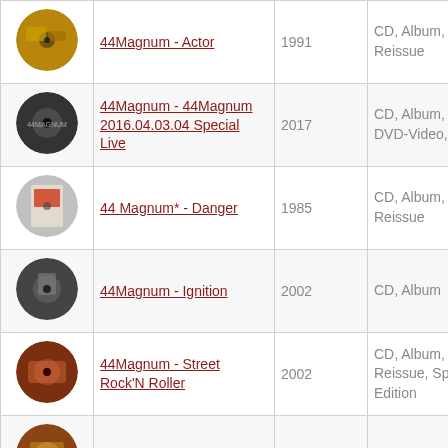| Image | Title | Year | Format |
| --- | --- | --- | --- |
| [img] | 44Magnum - Actor | 1991 | CD, Album, Reissue |
| [img] | 44Magnum - 44Magnum 2016.04.03.04 Special Live | 2017 | CD, Album, DVD, DVD-Video, NTSC |
| [img] | 44 Magnum* - Danger | 1985 | CD, Album, Reissue |
| [img] | 44Magnum - Ignition | 2002 | CD, Album |
| [img] | 44Magnum - Street Rock'N Roller | 2002 | CD, Album, Reissue, Special Edition |
| [img] | 44 Magnum* - Street | 1984 | Vinyl, LP, Album |